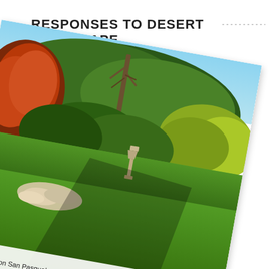RESPONSES TO DESERT LANDSCAPE
[Figure (photo): A rotated photograph of a lush garden landscape featuring green lawns, colorful trees (including red/orange foliage on the left and dark green trees in the center-background), a stone lantern in the middle, rock garden elements in the lower left, and a sharp diagonal shadow cast across the grass. The photo is tilted approximately 10 degrees clockwise.]
s Installation San Pasqual, California City
e, Backyard Landscaping